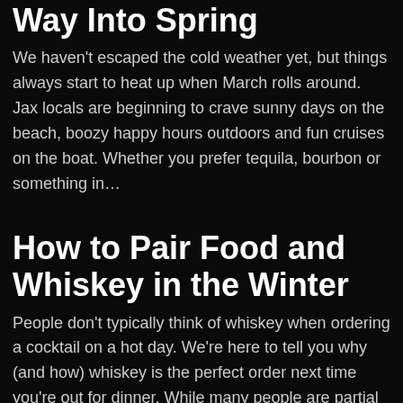Way Into Spring
We haven't escaped the cold weather yet, but things always start to heat up when March rolls around. Jax locals are beginning to crave sunny days on the beach, boozy happy hours outdoors and fun cruises on the boat. Whether you prefer tequila, bourbon or something in...
How to Pair Food and Whiskey in the Winter
People don't typically think of whiskey when ordering a cocktail on a hot day. We're here to tell you why (and how) whiskey is the perfect order next time you're out for dinner. While many people are partial to vodka and white rum to cool them off, certain approaches...